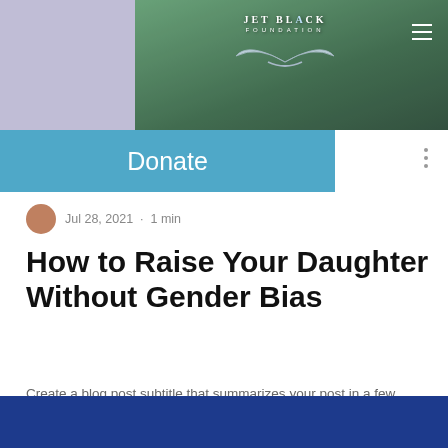[Figure (screenshot): Website header screenshot showing Jet Black Foundation logo with wings on a blue-green background, with a hamburger menu icon on the right.]
[Figure (screenshot): Blue navigation bar with 'Donate' link text in white, and a three-dot menu icon to the right.]
Jul 28, 2021 · 1 min
How to Raise Your Daughter Without Gender Bias
Create a blog post subtitle that summarizes your post in a few short, punchy sentences and entices your audience to continue reading....
0 views  0 comments  ♡
[Figure (screenshot): Dark blue bottom bar/banner at the bottom of the page.]